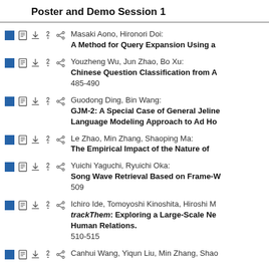Poster and Demo Session 1
Masaki Aono, Hironori Doi: A Method for Query Expansion Using a
Youzheng Wu, Jun Zhao, Bo Xu: Chinese Question Classification from A 485-490
Guodong Ding, Bin Wang: GJM-2: A Special Case of General Jeline Language Modeling Approach to Ad Ho
Le Zhao, Min Zhang, Shaoping Ma: The Empirical Impact of the Nature of
Yuichi Yaguchi, Ryuichi Oka: Song Wave Retrieval Based on Frame-W 509
Ichiro Ide, Tomoyoshi Kinoshita, Hiroshi M: trackThem: Exploring a Large-Scale Ne Human Relations. 510-515
Canhui Wang, Yiqun Liu, Min Zhang, Shao